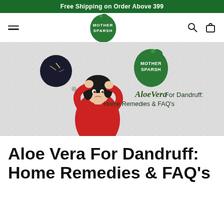Free Shipping on Order Above 399
[Figure (logo): Mother Sparsh logo - green leaf-shaped badge with text MOTHER SPARSH]
[Figure (illustration): Illustrated banner showing a woman scratching her head with dandruff, a thought bubble with dandruff flakes, Mother Sparsh logo, and text 'AloeVera For Dandruff: Home Remedies & FAQ's']
Aloe Vera For Dandruff: Home Remedies & FAQ's